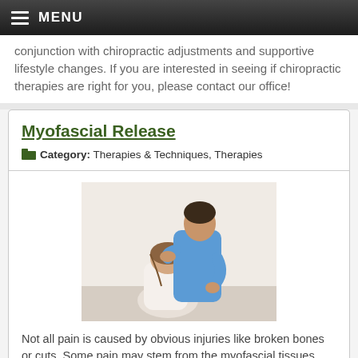MENU
conjunction with chiropractic adjustments and supportive lifestyle changes. If you are interested in seeing if chiropractic therapies are right for you, please contact our office!
Myofascial Release
Category: Therapies & Techniques, Therapies
[Figure (photo): A chiropractor in blue scrubs performing a myofascial release technique on a female patient, placing hands on her head/neck area. Patient is seated and bending forward.]
Not all pain is caused by obvious injuries like broken bones or cuts. Some pain may stem from the myofascial tissues. These tough membranes are wrapped around your muscles to provide support and connect them to other parts of the body. When myofascial tissue becomes